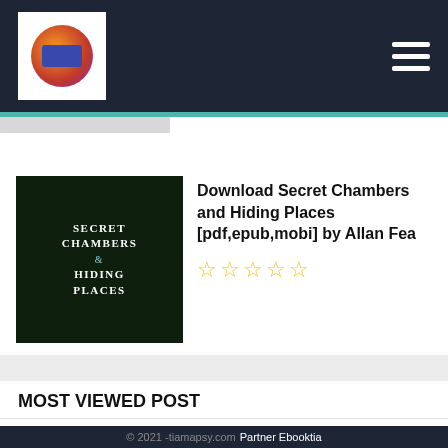Download Secret Chambers and Hiding Places [pdf,epub,mobi] by Allan Fea
MOST VIEWED POST
No entry
© 2021 -tiamapsy.com Partner Ebooktia